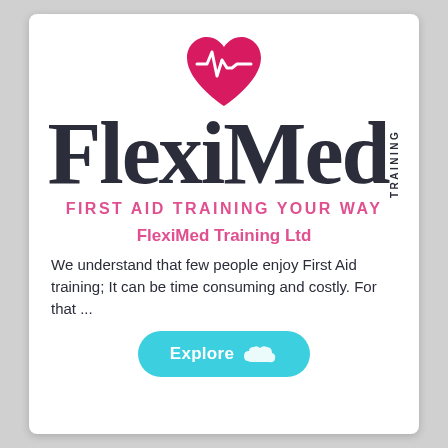[Figure (logo): FlexiMed Training logo: a pink/red heart shape with a white ECG/heartbeat line through it, above the large dark text 'FlexiMed' with 'TRAINING' in vertical text to the right, and tagline 'FIRST AID TRAINING YOUR WAY' in pink below]
FlexiMed Training Ltd
We understand that few people enjoy First Aid training; It can be time consuming and costly. For that ...
[Figure (other): Cyan/turquoise rounded button labeled 'Explore' with a white cloud or animal silhouette icon to the right]